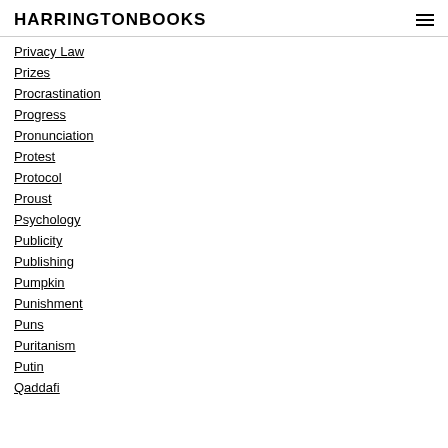HARRINGTONBOOKS
Privacy Law
Prizes
Procrastination
Progress
Pronunciation
Protest
Protocol
Proust
Psychology
Publicity
Publishing
Pumpkin
Punishment
Puns
Puritanism
Putin
Qaddafi